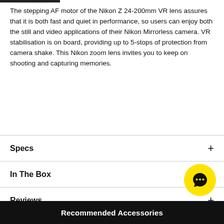The stepping AF motor of the Nikon Z 24-200mm VR lens assures that it is both fast and quiet in performance, so users can enjoy both the still and video applications of their Nikon Mirrorless camera. VR stabilisation is on board, providing up to 5-stops of protection from camera shake. This Nikon zoom lens invites you to keep on shooting and capturing memories.
Specs
In The Box
Reviews
[Figure (illustration): Yellow circular chat bubble icon with three dots inside]
Recommended Accessories